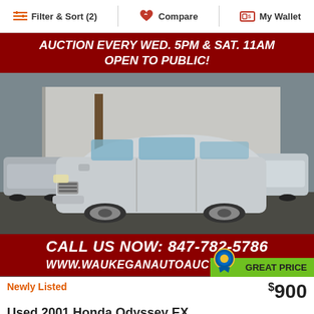Filter & Sort (2)   Compare   My Wallet
[Figure (photo): Screenshot of a car listing website showing a 2001 Honda Odyssey EX silver minivan at an auction lot, with red banners advertising auction schedule and contact info]
Newly Listed
$900
Used 2001 Honda Odyssey EX
150,332 miles
See estimated payment